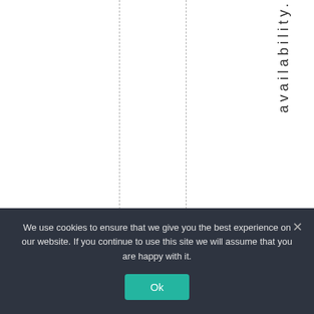[Figure (other): A white page area with two dashed vertical lines and a column of vertically-oriented text reading 'availability.' followed by 'Noone' (partially visible), typical of a rotated table header or column label in a web document.]
We use cookies to ensure that we give you the best experience on our website. If you continue to use this site we will assume that you are happy with it.